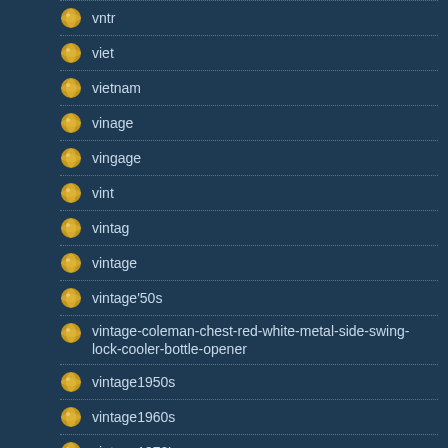vntr
viet
vietnam
vinage
vingage
vint
vintag
vintage
vintage'50s
vintage-coleman-chest-red-white-metal-side-swing-lock-cooler-bottle-opener
vintage1950s
vintage1960s
vintage1970's
vintagebright
vintagedrink